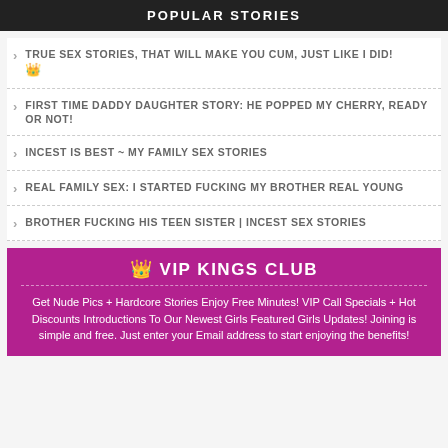POPULAR STORIES
TRUE SEX STORIES, THAT WILL MAKE YOU CUM, JUST LIKE I DID! 👑
FIRST TIME DADDY DAUGHTER STORY: HE POPPED MY CHERRY, READY OR NOT!
INCEST IS BEST ~ MY FAMILY SEX STORIES
REAL FAMILY SEX: I STARTED FUCKING MY BROTHER REAL YOUNG
BROTHER FUCKING HIS TEEN SISTER | INCEST SEX STORIES
👑 VIP KINGS CLUB
Get Nude Pics + Hardcore Stories Enjoy Free Minutes! VIP Call Specials + Hot Discounts Introductions To Our Newest Girls Featured Girls Updates! Joining is simple and free. Just enter your Email address to start enjoying the benefits!